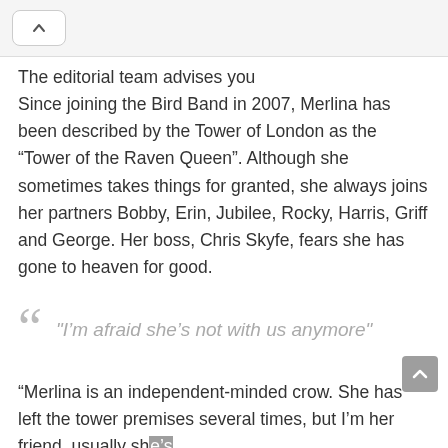^ (back navigation button)
The editorial team advises you
Since joining the Bird Band in 2007, Merlina has been described by the Tower of London as the “Tower of the Raven Queen”. Although she sometimes takes things for granted, she always joins her partners Bobby, Erin, Jubilee, Rocky, Harris, Griff and George. Her boss, Chris Skyfe, fears she has gone to heaven for good.
“I’m afraid she’s not with us anymore”
“Merlina is an independent-minded crow. She has left the tower premises several times, but I’m her friend, usually she’s coming back. But this time she did not. I’m afraid she should